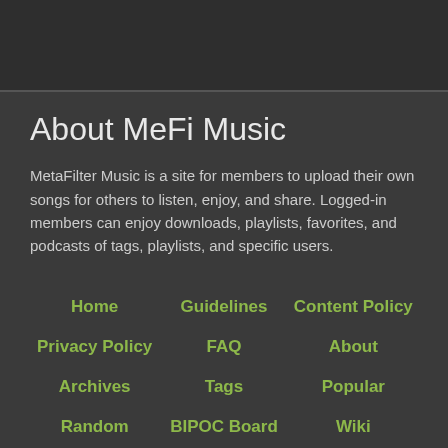About MeFi Music
MetaFilter Music is a site for members to upload their own songs for others to listen, enjoy, and share. Logged-in members can enjoy downloads, playlists, favorites, and podcasts of tags, playlists, and specific users.
Home
Guidelines
Content Policy
Privacy Policy
FAQ
About
Archives
Tags
Popular
Random
BIPOC Board
Wiki
Search
Chat
Jobs